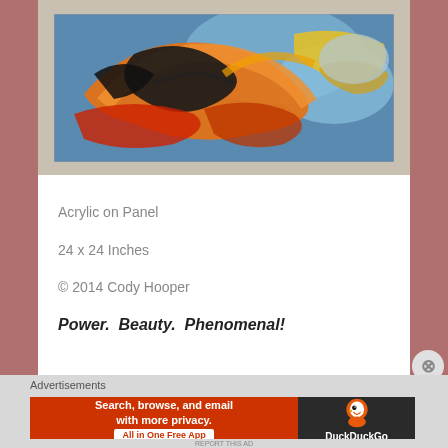[Figure (illustration): Abstract acrylic painting with swirling orange, black, blue, and yellow colors on a panel]
Acrylic on Panel
24 x 24 Inches
© 2014 Cody Hooper
Power.  Beauty.  Phenomenal!
Advertisements
[Figure (screenshot): DuckDuckGo advertisement banner: Search, browse, and email with more privacy. All in One Free App]